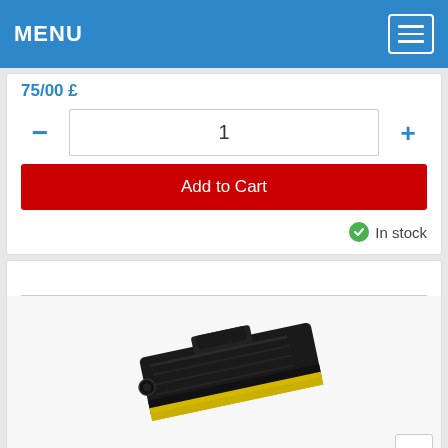MENU
75/00 £
- 1 +
Add to Cart
In stock
[Figure (photo): Black toner cartridge - Brother Compatible Toner TN-2000]
Brother Compatible Toner TN-2000 Black (2.5K p.)for